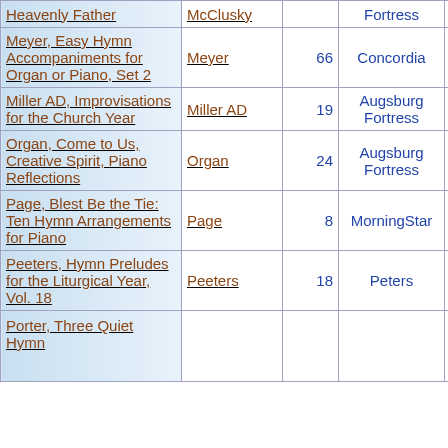| Title | Author | # | Publisher | Year |  |
| --- | --- | --- | --- | --- | --- |
| Heavenly Father | McClusky |  | Fortress | 1994 | Or... |
| Meyer, Easy Hymn Accompaniments for Organ or Piano, Set 2 | Meyer | 66 | Concordia | 1995 | Or |
| Miller AD, Improvisations for the Church Year | Miller AD | 19 | Augsburg Fortress | 2001 | Or |
| Organ, Come to Us, Creative Spirit, Piano Reflections | Organ | 24 | Augsburg Fortress | 2000 |  |
| Page, Blest Be the Tie: Ten Hymn Arrangements for Piano | Page | 8 | MorningStar | 2008 |  |
| Peeters, Hymn Preludes for the Liturgical Year, Vol. 18 | Peeters | 18 | Peters | 1969 | Or |
| Porter, Three Quiet Hymn... |  |  |  |  |  |